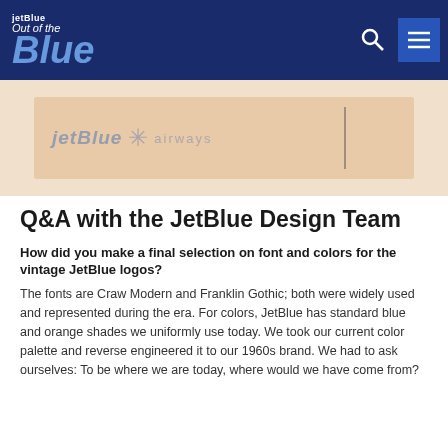jetBlue Out of the Blue
[Figure (photo): Hero image showing a JetBlue vintage-style card or ticket with the JetBlue logo on a beige/cream background]
Q&A with the JetBlue Design Team
How did you make a final selection on font and colors for the vintage JetBlue logos?
The fonts are Craw Modern and Franklin Gothic; both were widely used and represented during the era. For colors, JetBlue has standard blue and orange shades we uniformly use today. We took our current color palette and reverse engineered it to our 1960s brand. We had to ask ourselves: To be where we are today, where would we have come from?